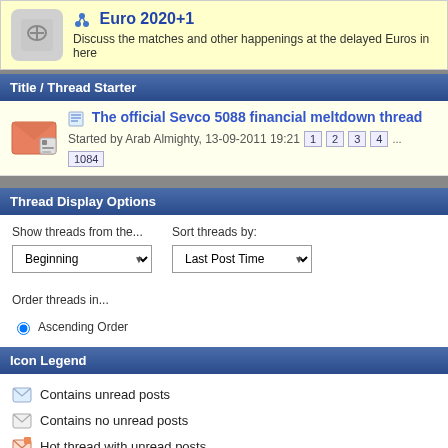Euro 2020+1 — Discuss the matches and other happenings at the delayed Euros in here
Title / Thread Starter
The official Sevco 5088 financial meltdown thread — Started by Arab Almighty, 13-09-2011 19:21 — pages 1 2 3 4 ... 1084
Thread Display Options
Show threads from the... Beginning | Sort threads by: Last Post Time | Order threads in... Ascending Order
Icon Legend
Contains unread posts
Contains no unread posts
Hot thread with unread posts
Hot thread with no unread posts
Thread is closed
You have posted in this thread